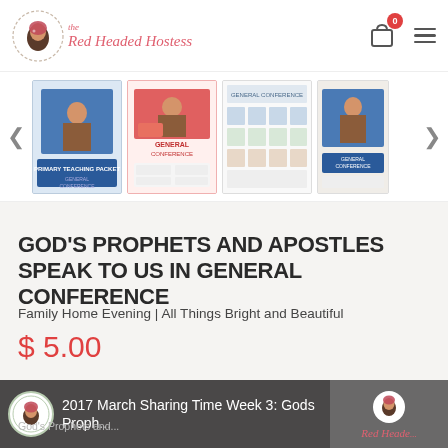The Red Headed Hostess
[Figure (screenshot): Product image slideshow with four thumbnail images of General Conference teaching packet materials and navigation arrows]
GOD'S PROPHETS AND APOSTLES SPEAK TO US IN GENERAL CONFERENCE
Family Home Evening | All Things Bright and Beautiful
$ 5.00
[Figure (screenshot): YouTube video thumbnail showing '2017 March Sharing Time Week 3: Gods Proph...' with Red Headed Hostess logo and God's Prophets & Apostles banner]